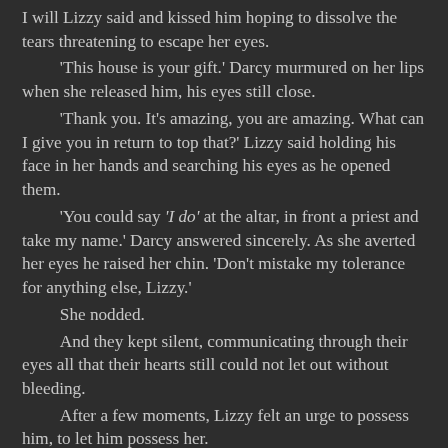I will Lizzy said and kissed him hoping to dissolve the tears threatening to escape her eyes. 'This house is your gift.' Darcy murmured on her lips when she released him, his eyes still close. 'Thank you. It's amazing, you are amazing. What can I give you in return to top that?' Lizzy said holding his face in her hands and searching his eyes as he opened them. 'You could say 'I do' at the altar, in front a priest and take my name.' Darcy answered sincerely. As she averted her eyes he raised her chin. 'Don't mistake my tolerance for anything else, Lizzy.' She nodded. And they kept silent, communicating through their eyes all that their hearts still could not let out without bleeding. After a few moments, Lizzy felt an urge to possess him, to let him possess her. She devoured his mouth and moved to seat astride him. He leaned back on the chair to a cozier position and that way their crotches made full contact. They both moaned on each other's mouths and the